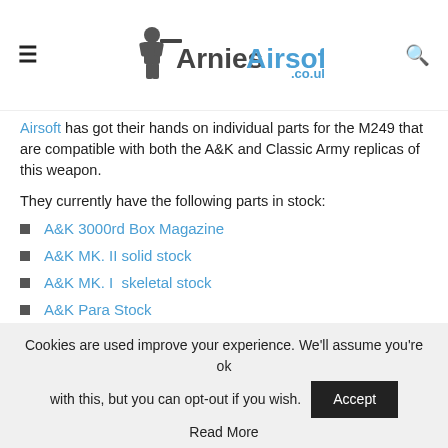Arnies Airsoft
Airsoft has got their hands on individual parts for the M249 that are compatible with both the A&K and Classic Army replicas of this weapon.
They currently have the following parts in stock:
A&K 3000rd Box Magazine
A&K MK. II solid stock
A&K MK. I  skeletal stock
A&K Para Stock
A&K Rail top cover.
What would be great is if they could also release both the MK. I and MK. II fore grips as well as possibly some RIS/RAS covers as
Cookies are used improve your experience. We'll assume you're ok with this, but you can opt-out if you wish.
Read More